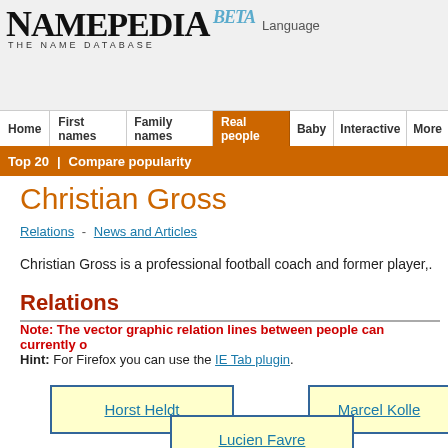Namepedia BETA - The Name Database | Language
Home | First names | Family names | Real people | Baby | Interactive | More
Top 20 | Compare popularity
Christian Gross
Relations - News and Articles
Christian Gross is a professional football coach and former player,.
Relations
Note: The vector graphic relation lines between people can currently o
Hint: For Firefox you can use the IE Tab plugin.
Horst Heldt
Marcel Kolle
Lucien Favre